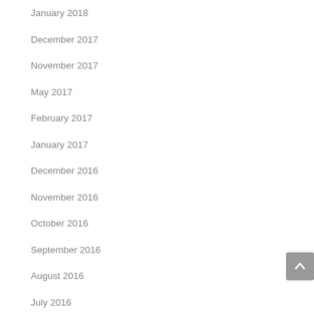January 2018
December 2017
November 2017
May 2017
February 2017
January 2017
December 2016
November 2016
October 2016
September 2016
August 2016
July 2016
June 2016
May 2016
August 2015